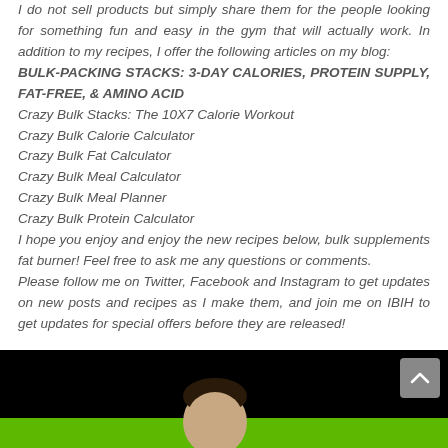I do not sell products but simply share them for the people looking for something fun and easy in the gym that will actually work. In addition to my recipes, I offer the following articles on my blog: BULK-PACKING STACKS: 3-DAY CALORIES, PROTEIN SUPPLY, FAT-FREE, & AMINO ACID
Crazy Bulk Stacks: The 10X7 Calorie Workout
Crazy Bulk Calorie Calculator
Crazy Bulk Fat Calculator
Crazy Bulk Meal Calculator
Crazy Bulk Meal Planner
Crazy Bulk Protein Calculator
I hope you enjoy and enjoy the new recipes below, bulk supplements fat burner! Feel free to ask me any questions or comments.
Please follow me on Twitter, Facebook and Instagram to get updates on new posts and recipes as I make them, and join me on IBIH to get updates for special offers before they are released!
[Figure (photo): Bottom portion of a webpage showing a dark/black background with a green banner and partial view of a person's head at the bottom of the page.]